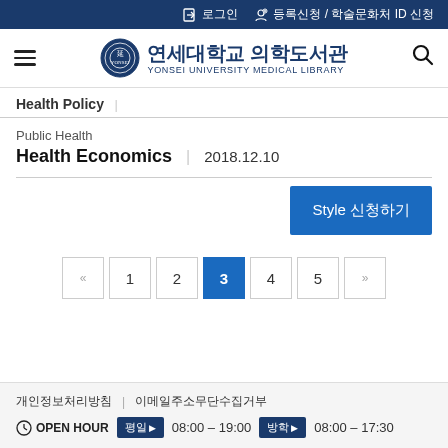로그인  등록신청 / 학술문화처 ID 신청
[Figure (logo): Yonsei University Medical Library logo with Korean text 연세대학교 의학도서관 and English text YONSEI UNIVERSITY MEDICAL LIBRARY]
Health Policy
Public Health
Health Economics  |  2018.12.10
Style 신청하기
« 1 2 3 4 5 »
개인정보처리방침 | 이메일주소무단수집거부  OPEN HOUR  평일 08:00 – 19:00  방학 08:00 – 17:30